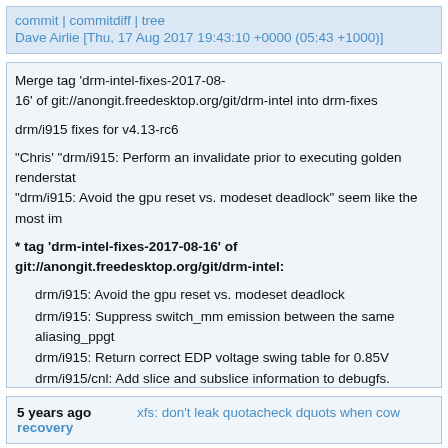commit | commitdiff | tree
Dave Airlie [Thu, 17 Aug 2017 19:43:10 +0000 (05:43 +1000)]
Merge tag 'drm-intel-fixes-2017-08-16' of git://anongit.freedesktop.org/git/drm-intel into drm-fixes

drm/i915 fixes for v4.13-rc6

"Chris' "drm/i915: Perform an invalidate prior to executing golden renderstat "drm/i915: Avoid the gpu reset vs. modeset deadlock" seem like the most im

* tag 'drm-intel-fixes-2017-08-16' of git://anongit.freedesktop.org/git/drm-intel:
  drm/i915: Avoid the gpu reset vs. modeset deadlock
  drm/i915: Suppress switch_mm emission between the same aliasing_ppgt
  drm/i915: Return correct EDP voltage swing table for 0.85V
  drm/i915/cnl: Add slice and subslice information to debugfs.
  drm/i915: Perform an invalidate prior to executing golden renderstate
  drm/i915: remove unused function declaration
5 years ago    xfs: don't leak quotacheck dquots when cow recovery